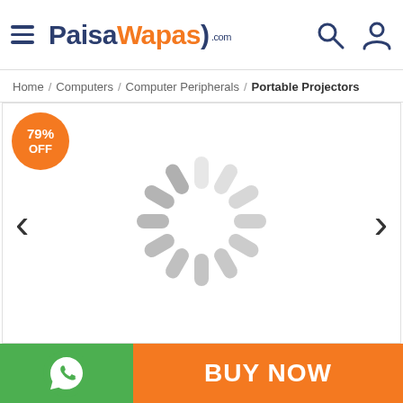[Figure (logo): PaisaWapas.com logo with hamburger menu, search and user icons in header]
Home / Computers / Computer Peripherals / Portable Projectors
[Figure (screenshot): Product image area with 79% OFF badge, left/right navigation arrows, and a loading spinner in the center]
[Figure (other): Bottom bar with green WhatsApp button and orange BUY NOW button]